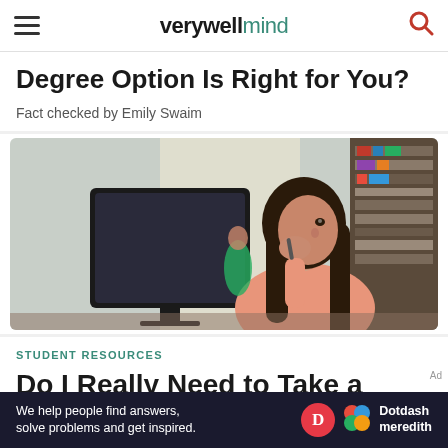verywell mind
Degree Option Is Right for You?
Fact checked by Emily Swaim
[Figure (photo): Young woman sitting at a desk in front of a computer monitor, resting her chin on her hand thoughtfully, in a library or office setting]
STUDENT RESOURCES
Do I Really Need to Take a
We help people find answers, solve problems and get inspired. Dotdash meredith